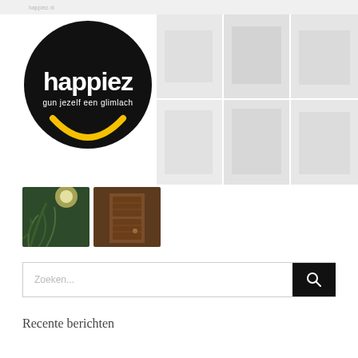happiez.nl
[Figure (logo): Happiez logo: black circle with white text 'happiez' and tagline 'gun jezelf een glimlach' with a yellow smile arc below]
[Figure (photo): Grid of faded/light nature and indoor photos in the upper right area of the page]
[Figure (photo): Two thumbnail photos: left is a green forest/fern scene with sunlight, right is a wooden rustic door]
Zoeken...
Recente berichten